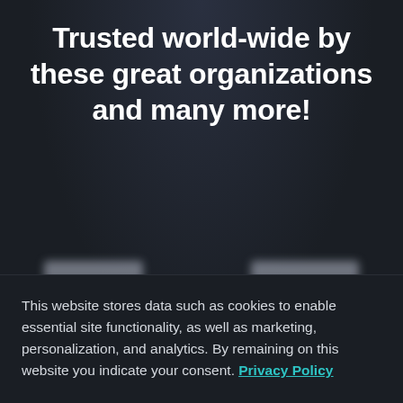Trusted world-wide by these great organizations and many more!
[Figure (other): Two blurred organization logos side by side, and one blurred logo with icon below]
This website stores data such as cookies to enable essential site functionality, as well as marketing, personalization, and analytics. By remaining on this website you indicate your consent. Privacy Policy